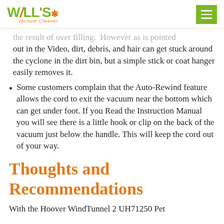WILL'S Vacuum Cleaner
the result of over filling.  However as is pointed out in the Video, dirt, debris, and hair can get stuck around the cyclone in the dirt bin, but a simple stick or coat hanger easily removes it.
Some customers complain that the Auto-Rewind feature allows the cord to exit the vacuum near the bottom which can get under foot. If you Read the Instruction Manual you will see there is a little hook or clip on the back of the vacuum just below the handle. This will keep the cord out of your way.
Thoughts and Recommendations
With the Hoover WindTunnel 2 UH71250 Pet